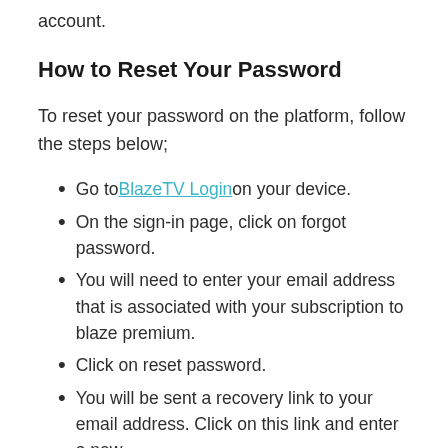account.
How to Reset Your Password
To reset your password on the platform, follow the steps below;
Go to BlazeTV Login on your device.
On the sign-in page, click on forgot password.
You will need to enter your email address that is associated with your subscription to blaze premium.
Click on reset password.
You will be sent a recovery link to your email address. Click on this link and enter a new